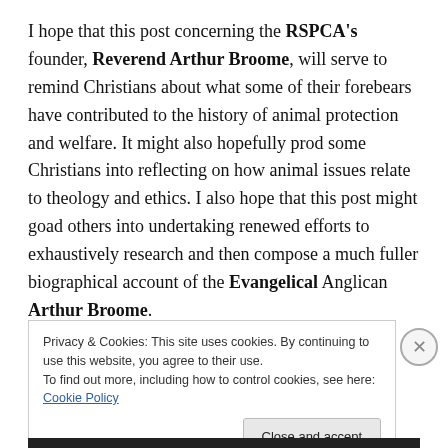I hope that this post concerning the RSPCA's founder, Reverend Arthur Broome, will serve to remind Christians about what some of their forebears have contributed to the history of animal protection and welfare. It might also hopefully prod some Christians into reflecting on how animal issues relate to theology and ethics. I also hope that this post might goad others into undertaking renewed efforts to exhaustively research and then compose a much fuller biographical account of the Evangelical Anglican Arthur Broome.
Privacy & Cookies: This site uses cookies. By continuing to use this website, you agree to their use.
To find out more, including how to control cookies, see here: Cookie Policy